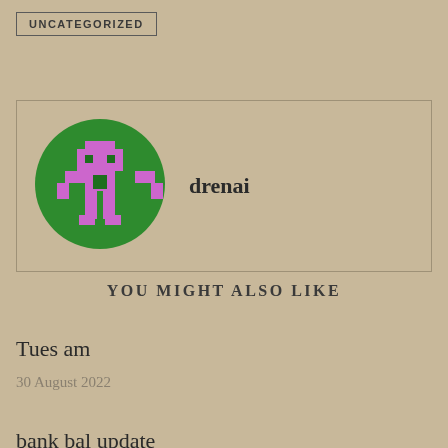UNCATEGORIZED
[Figure (illustration): Author profile card with pixel-art avatar (green circle with purple pixel character) and name 'drenai']
YOU MIGHT ALSO LIKE
Tues am
30 August 2022
bank bal update